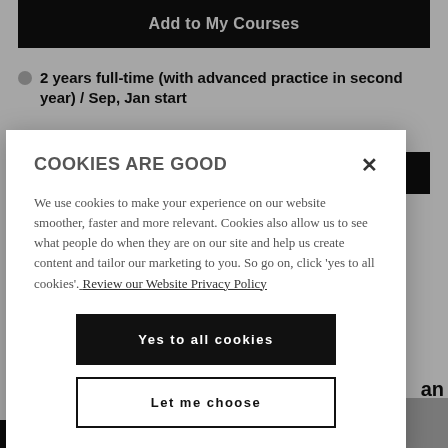Add to My Courses
2 years full-time (with advanced practice in second year) / Sep, Jan start
More details
COOKIES ARE GOOD
We use cookies to make your experience on our website smoother, faster and more relevant. Cookies also allow us to see what people do when they are on our site and help us create content and tailor our marketing to you. So go on, click 'yes to all cookies'. Review our Website Privacy Policy
Yes to all cookies
Let me choose